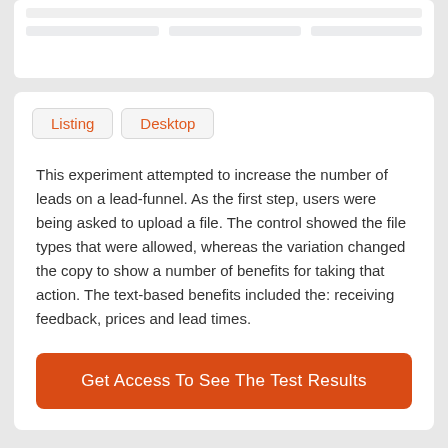[Figure (screenshot): Partial top card with blurred/placeholder content rows]
Listing
Desktop
This experiment attempted to increase the number of leads on a lead-funnel. As the first step, users were being asked to upload a file. The control showed the file types that were allowed, whereas the variation changed the copy to show a number of benefits for taking that action. The text-based benefits included the: receiving feedback, prices and lead times.
Get Access To See The Test Results